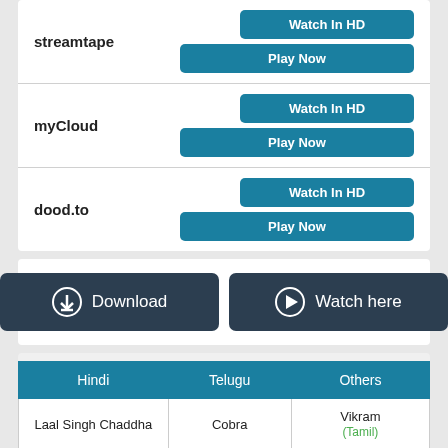streamtape | Watch In HD | Play Now
myCloud | Watch In HD | Play Now
dood.to | Watch In HD | Play Now
[Figure (other): Two dark buttons: Download (with download icon) and Watch here (with play icon)]
| Hindi | Telugu | Others |
| --- | --- | --- |
| Laal Singh Chaddha | Cobra | Vikram (Tamil) |
| Shabaash Mithu | Pellikuturu Party | Veetla Vishesham… |